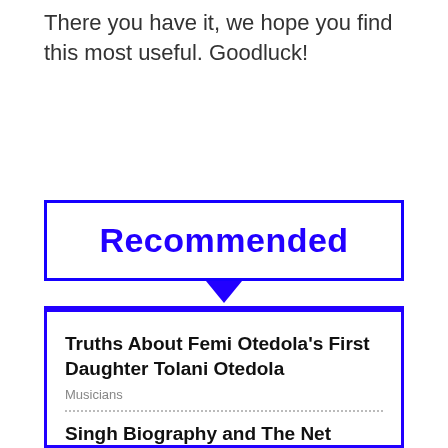There you have it, we hope you find this most useful. Goodluck!
Recommended
Truths About Femi Otedola's First Daughter Tolani Otedola
Musicians
Singh Biography and The Net Worth